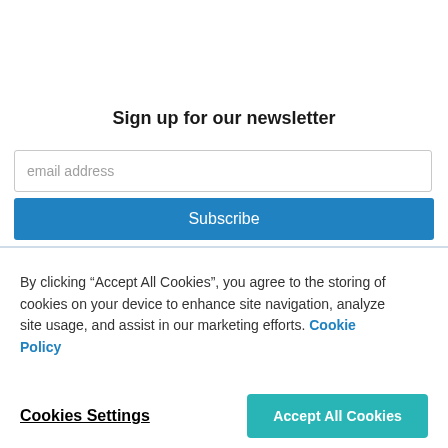Sign up for our newsletter
email address
Subscribe
By clicking “Accept All Cookies”, you agree to the storing of cookies on your device to enhance site navigation, analyze site usage, and assist in our marketing efforts. Cookie Policy
Cookies Settings
Accept All Cookies